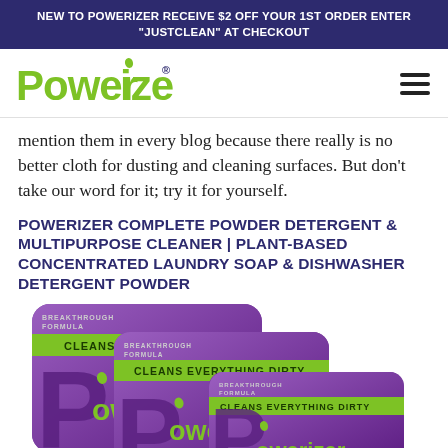NEW TO POWERIZER RECEIVE $2 OFF YOUR 1ST ORDER ENTER "JUSTCLEAN" AT CHECKOUT
[Figure (logo): Powerizer logo with green stylized text and registered trademark symbol]
mention them in every blog because there really is no better cloth for dusting and cleaning surfaces. But don't take our word for it; try it for yourself.
POWERIZER COMPLETE POWDER DETERGENT & MULTIPURPOSE CLEANER | PLANT-BASED CONCENTRATED LAUNDRY SOAP & DISHWASHER DETERGENT POWDER
[Figure (photo): Three purple Powerizer Complete Powder Detergent packages with green 'CLEANS EVERYTHING DIRTY' banner and Powerizer logo, shown in stacked/overlapping arrangement]